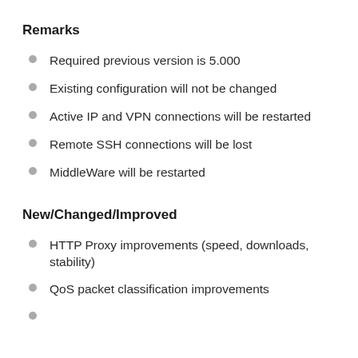Remarks
Required previous version is 5.000
Existing configuration will not be changed
Active IP and VPN connections will be restarted
Remote SSH connections will be lost
MiddleWare will be restarted
New/Changed/Improved
HTTP Proxy improvements (speed, downloads, stability)
QoS packet classification improvements